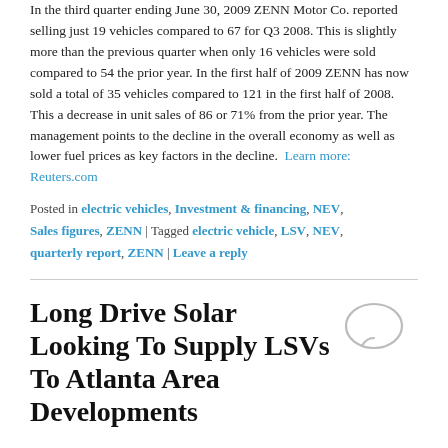In the third quarter ending June 30, 2009 ZENN Motor Co. reported selling just 19 vehicles compared to 67 for Q3 2008.  This is slightly more than the previous quarter when only 16 vehicles were sold compared to 54 the prior year.  In the first half of 2009 ZENN has now sold a total of 35 vehicles compared to 121 in the first half of 2008.  This a decrease in unit sales of 86 or 71% from the prior year.  The management points to the decline in the overall economy as well as lower fuel prices as key factors in the decline.   Learn more:  Reuters.com
Posted in electric vehicles, Investment & financing, NEV, Sales figures, ZENN | Tagged electric vehicle, LSV, NEV, quarterly report, ZENN | Leave a reply
Long Drive Solar Looking To Supply LSVs To Atlanta Area Developments